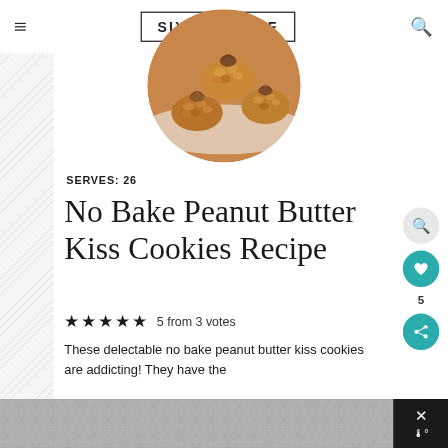SIX S[ISTER'S] STUFF
[Figure (photo): Circular cropped photo of no-bake peanut butter kiss cookies with chocolate Hershey's kisses on top, golden-brown clusters on a white background]
SERVES: 26
No Bake Peanut Butter Kiss Cookies Recipe
5 from 3 votes
These delectable no bake peanut butter kiss cookies are addicting! They have the